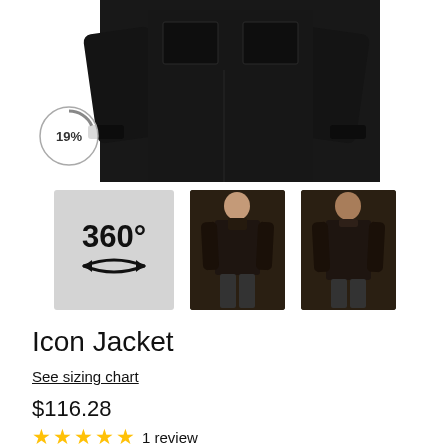[Figure (photo): Black Icon Jacket main product photo showing upper portion of jacket with chest pockets and sleeves, with a circular 19% badge overlay in lower left]
[Figure (other): Three thumbnail images: 360-degree view icon on grey background, front view of man wearing dark jacket, back view of man wearing dark jacket]
Icon Jacket
See sizing chart
$116.28
★★★★★ 1 review